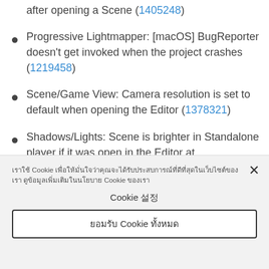after opening a Scene (1405248)
Progressive Lightmapper: [macOS] BugReporter doesn't get invoked when the project crashes (1219458)
Scene/Game View: Camera resolution is set to default when opening the Editor (1378321)
Shadows/Lights: Scene is brighter in Standalone player if it was open in the Editor at
เราใช้ Cookie เพื่อให้มั่นใจว่าคุณจะได้รับประสบการณ์ที่ดีที่สุดในเว็บไซต์ของเรา
Cookie 설정
ยอมรับ Cookie ทั้งหมด